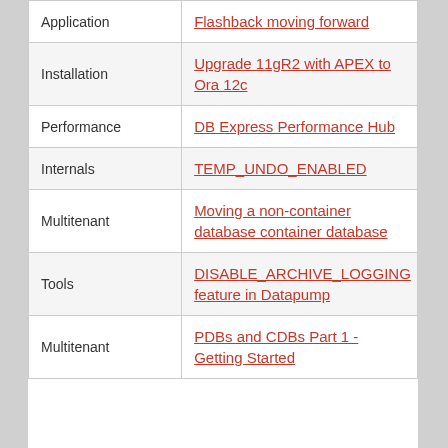| Category | Link |
| --- | --- |
| Application | Flashback moving forward |
| Installation | Upgrade 11gR2 with APEX to Ora 12c |
| Performance | DB Express Performance Hub |
| Internals | TEMP_UNDO_ENABLED |
| Multitenant | Moving a non-container database container database |
| Tools | DISABLE_ARCHIVE_LOGGING feature in Datapump |
| Multitenant | PDBs and CDBs Part 1 - Getting Started |